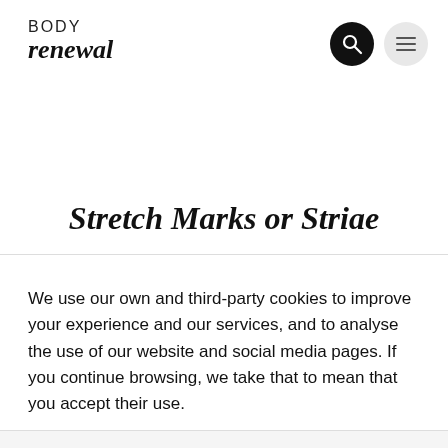BODY renewal
Stretch Marks or Striae
We use our own and third-party cookies to improve your experience and our services, and to analyse the use of our website and social media pages. If you continue browsing, we take that to mean that you accept their use.
Accept